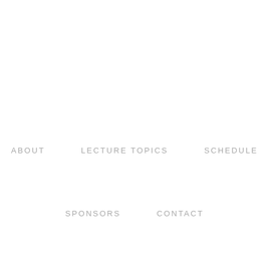ABOUT
LECTURE TOPICS
SCHEDULE
SPONSORS
CONTACT